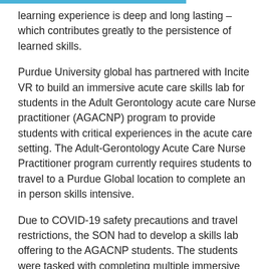learning experience is deep and long lasting – which contributes greatly to the persistence of learned skills.
Purdue University global has partnered with Incite VR to build an immersive acute care skills lab for students in the Adult Gerontology acute care Nurse practitioner (AGACNP) program to provide students with critical experiences in the acute care setting. The Adult-Gerontology Acute Care Nurse Practitioner program currently requires students to travel to a Purdue Global location to complete an in person skills intensive.
Due to COVID-19 safety precautions and travel restrictions, the SON had to develop a skills lab offering to the AGACNP students. The students were tasked with completing multiple immersive labs including: endotracheal intubation